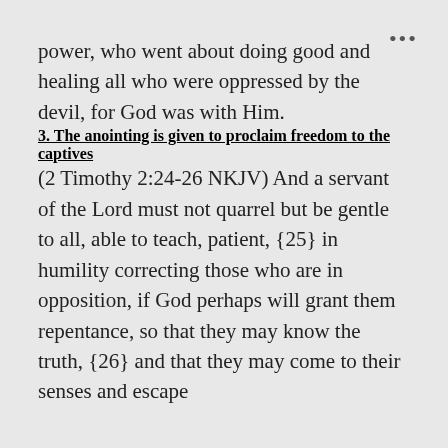power, who went about doing good and healing all who were oppressed by the devil, for God was with Him.
3. The anointing is given to proclaim freedom to the captives
(2 Timothy 2:24-26 NKJV) And a servant of the Lord must not quarrel but be gentle to all, able to teach, patient, {25} in humility correcting those who are in opposition, if God perhaps will grant them repentance, so that they may know the truth, {26} and that they may come to their senses and escape